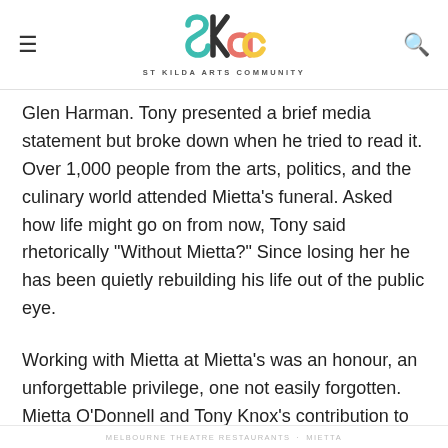ST KILDA ARTS COMMUNITY
Glen Harman. Tony presented a brief media statement but broke down when he tried to read it. Over 1,000 people from the arts, politics, and the culinary world attended Mietta’s funeral. Asked how life might go on from now, Tony said rhetorically “Without Mietta?” Since losing her he has been quietly rebuilding his life out of the public eye.
Working with Mietta at Mietta’s was an honour, an unforgettable privilege, one not easily forgotten. Mietta O’Donnell and Tony Knox’s contribution to our city’s artistic and culinary culture remains profound. They both have left us with a valuable and enduring legacy.
MELBOURNE THEATRE RESTAURANTS · MIETTA